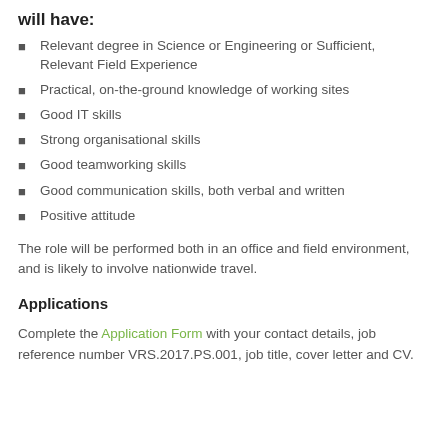will have:
Relevant degree in Science or Engineering or Sufficient, Relevant Field Experience
Practical, on-the-ground knowledge of working sites
Good IT skills
Strong organisational skills
Good teamworking skills
Good communication skills, both verbal and written
Positive attitude
The role will be performed both in an office and field environment, and is likely to involve nationwide travel.
Applications
Complete the Application Form with your contact details, job reference number VRS.2017.PS.001, job title, cover letter and CV.